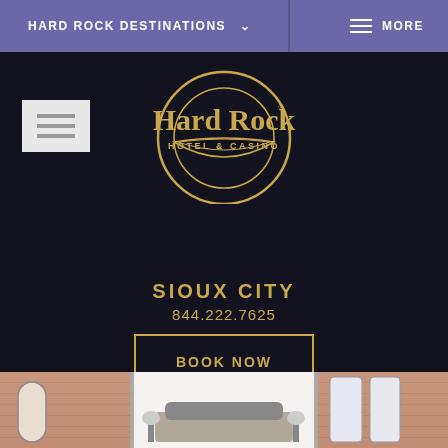HARD ROCK DESTINATIONS  ∨   MORE
[Figure (logo): Hard Rock Hotel & Casino circular logo in gold on dark background]
SIOUX CITY
844.222.7625
BOOK NOW
[Figure (photo): Hotel room interior with brick walls, arched windows, bed and chairs]